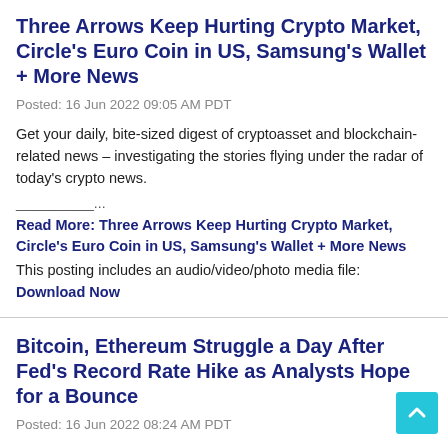Three Arrows Keep Hurting Crypto Market, Circle's Euro Coin in US, Samsung's Wallet + More News
Posted: 16 Jun 2022 09:05 AM PDT
Get your daily, bite-sized digest of cryptoasset and blockchain-related news – investigating the stories flying under the radar of today's crypto news.
__________...
Read More: Three Arrows Keep Hurting Crypto Market, Circle's Euro Coin in US, Samsung's Wallet + More News
This posting includes an audio/video/photo media file: Download Now
Bitcoin, Ethereum Struggle a Day After Fed's Record Rate Hike as Analysts Hope for a Bounce
Posted: 16 Jun 2022 08:24 AM PDT
The bitcoin (BTC) and broader crypto market failed to recover higher and returned to the selloff on Thursday, after a brief rally following the US Federal